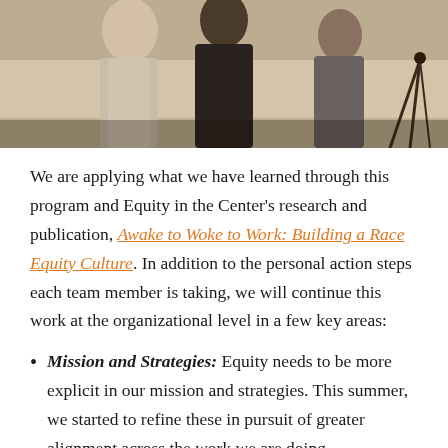[Figure (photo): Photograph of people standing in a room, partially cropped, showing figures from roughly the waist up against a light-colored background.]
We are applying what we have learned through this program and Equity in the Center’s research and publication, Awake to Woke to Work: Building a Race Equity Culture. In addition to the personal action steps each team member is taking, we will continue this work at the organizational level in a few key areas:
Mission and Strategies: Equity needs to be more explicit in our mission and strategies. This summer, we started to refine these in pursuit of greater alignment across the work we are doing